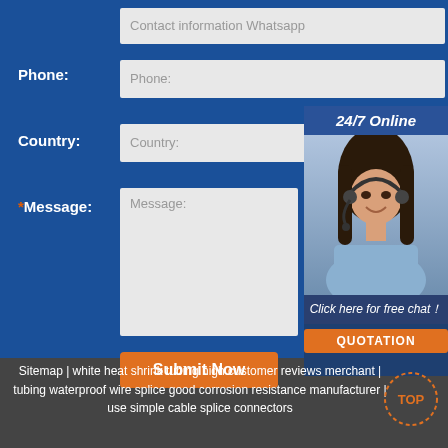Contact information Whatsapp
Phone:
Phone:
Country:
Country:
*Message:
Message:
Submit Now
[Figure (photo): Customer service representative woman with headset, labeled 24/7 Online with Click here for free chat and QUOTATION button]
Sitemap | white heat shrink tubing high customer reviews merchant | tubing waterproof wire splice good corrosion resistance manufacturer | use simple cable splice connectors